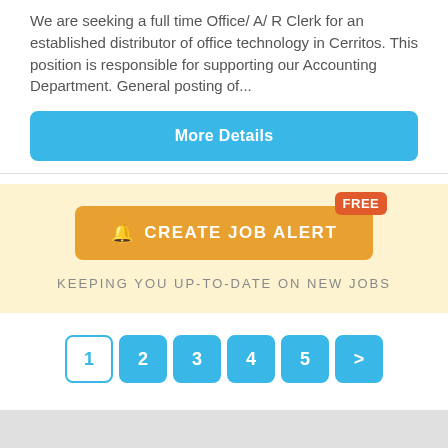We are seeking a full time Office/ A/ R Clerk for an established distributor of office technology in Cerritos. This position is responsible for supporting our Accounting Department. General posting of...
More Details
FREE
🔔 CREATE JOB ALERT
KEEPING YOU UP-TO-DATE ON NEW JOBS
1 2 3 4 5 >